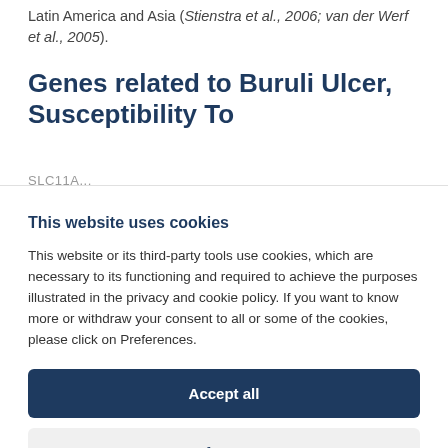Latin America and Asia (Stienstra et al., 2006; van der Werf et al., 2005).
Genes related to Buruli Ulcer, Susceptibility To
SLC11A...
This website uses cookies
This website or its third-party tools use cookies, which are necessary to its functioning and required to achieve the purposes illustrated in the privacy and cookie policy. If you want to know more or withdraw your consent to all or some of the cookies, please click on Preferences.
Accept all
Preferences